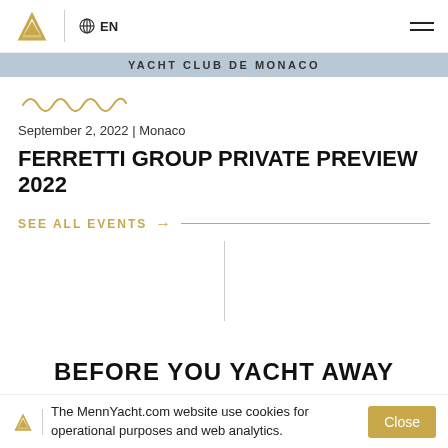EN
[Figure (other): Yacht Club de Monaco banner/header image with text overlay]
[Figure (illustration): Gold wavy decorative line]
September 2, 2022 | Monaco
FERRETTI GROUP PRIVATE PREVIEW 2022
SEE ALL EVENTS →
BEFORE YOU YACHT AWAY
The MennYacht.com website use cookies for operational purposes and web analytics. Close